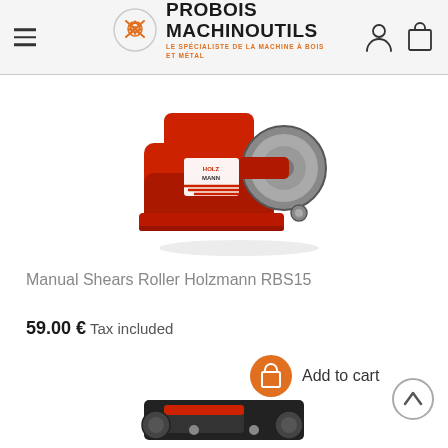PROBOIS MACHINOUTILS — LE SPÉCIALISTE DE LA MACHINE À BOIS ET MÉTAL
[Figure (photo): Red Holzmann manual shears roller tool RBS15, shown in 3/4 view with grey roller wheel and label]
Manual Shears Roller Holzmann RBS15
59.00 € Tax included
Add to cart
[Figure (photo): Partial view of another Holzmann product at the bottom of the page, red and black metallic tool]